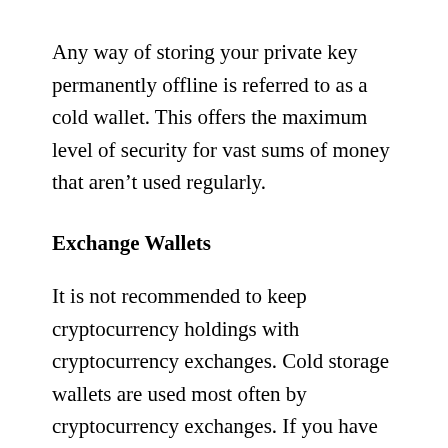Any way of storing your private key permanently offline is referred to as a cold wallet. This offers the maximum level of security for vast sums of money that aren't used regularly.
Exchange Wallets
It is not recommended to keep cryptocurrency holdings with cryptocurrency exchanges. Cold storage wallets are used most often by cryptocurrency exchanges. If you have little money and haven't discovered a backup wallet, this may be useful, but it requires you to unknowingly give control of your assets to a third party that is malicious or not. A good thing